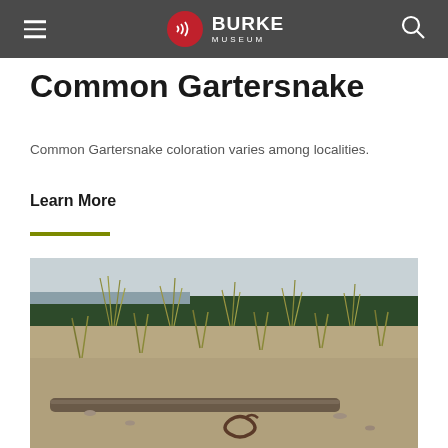Burke Museum
Common Gartersnake
Common Gartersnake coloration varies among localities.
Learn More
[Figure (photo): A common gartersnake coiled on driftwood on a sandy beach shore with sparse grasses, with a treeline and overcast sky in the background.]